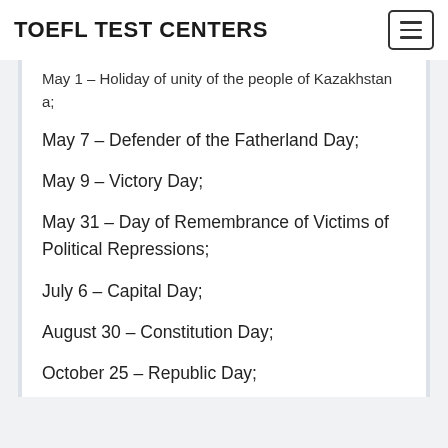TOEFL TEST CENTERS
May 1 – Holiday of unity of the people of Kazakhstan;
May 7 – Defender of the Fatherland Day;
May 9 – Victory Day;
May 31 – Day of Remembrance of Victims of Political Repressions;
July 6 – Capital Day;
August 30 – Constitution Day;
October 25 – Republic Day;